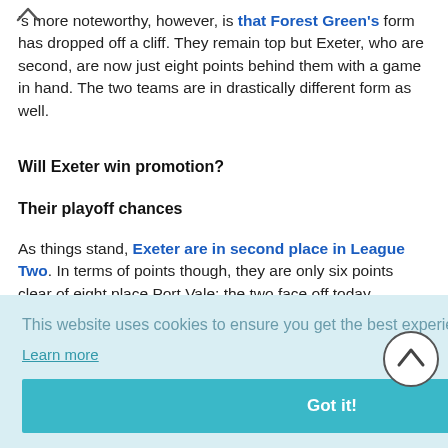's more noteworthy, however, is that Forest Green's form has dropped off a cliff. They remain top but Exeter, who are second, are now just eight points behind them with a game in hand. The two teams are in drastically different form as well.
Will Exeter win promotion?
Their playoff chances
As things stand, Exeter are in second place in League Two. In terms of points though, they are only six points clear of eight place Port Vale; the two face off today,
[Figure (screenshot): Cookie consent overlay with light blue background. Text reads: 'This website uses cookies to ensure you get the best experience on our website.' with a 'Learn more' link and a teal 'Got it!' button.]
especially considering their positive momentum.